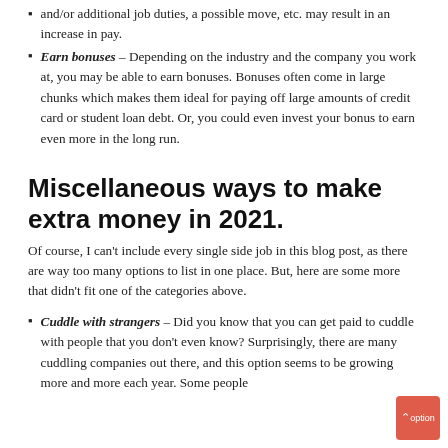and/or additional job duties, a possible move, etc. may result in an increase in pay.
Earn bonuses – Depending on the industry and the company you work at, you may be able to earn bonuses. Bonuses often come in large chunks which makes them ideal for paying off large amounts of credit card or student loan debt. Or, you could even invest your bonus to earn even more in the long run.
Miscellaneous ways to make extra money in 2021.
Of course, I can't include every single side job in this blog post, as there are way too many options to list in one place. But, here are some more that didn't fit one of the categories above.
Cuddle with strangers – Did you know that you can get paid to cuddle with people that you don't even know? Surprisingly, there are many cuddling companies out there, and this option seems to be growing more and more each year. Some people